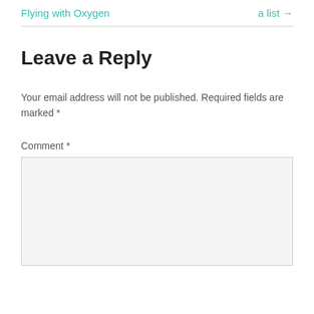Flying with Oxygen    a list →
Leave a Reply
Your email address will not be published. Required fields are marked *
Comment *